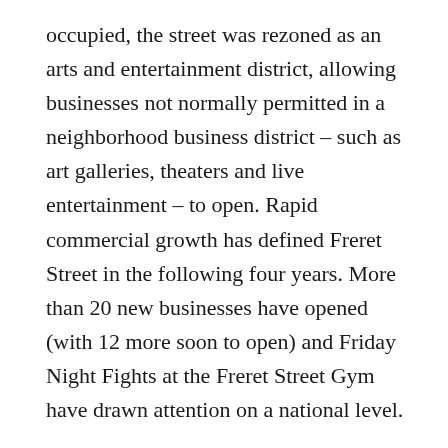occupied, the street was rezoned as an arts and entertainment district, allowing businesses not normally permitted in a neighborhood business district – such as art galleries, theaters and live entertainment – to open. Rapid commercial growth has defined Freret Street in the following four years. More than 20 new businesses have opened (with 12 more soon to open) and Friday Night Fights at the Freret Street Gym have drawn attention on a national level.
It seems that finally, Freret Street is back.